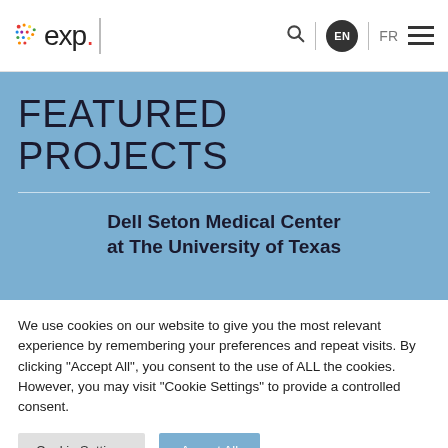[Figure (logo): exp. company logo with colorful dot grid and red period]
FEATURED PROJECTS
Dell Seton Medical Center at The University of Texas
We use cookies on our website to give you the most relevant experience by remembering your preferences and repeat visits. By clicking "Accept All", you consent to the use of ALL the cookies. However, you may visit "Cookie Settings" to provide a controlled consent.
Cookie Settings | Accept All